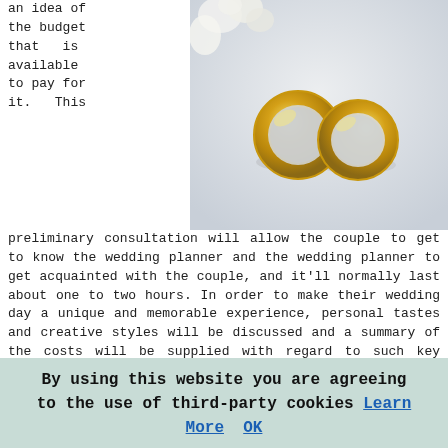an idea of the budget that is available to pay for it. This preliminary consultation will allow the couple to get to know the wedding planner and the wedding planner to get acquainted with the couple, and it'll normally last about one to two hours. In order to make their wedding day a unique and memorable experience, personal tastes and creative styles will be discussed and a summary of the costs will be supplied with regard to such key things as photographers, wedding favours, invitations, wedding cake, catering, potential venues, videography, flowers, entertainers, security and table decorations.
[Figure (photo): Two gold wedding rings on a light background with white flowers]
Other considerations that the wedding coordinator will summarize will be things like wedding etiquette and customs and the stages of a conventional wedding event. This will save the happy couple having to stress over things like the order of speeches, signing the register, where to stand and a hundred other issues that wedding couples fret over.
By using this website you are agreeing to the use of third-party cookies Learn More OK